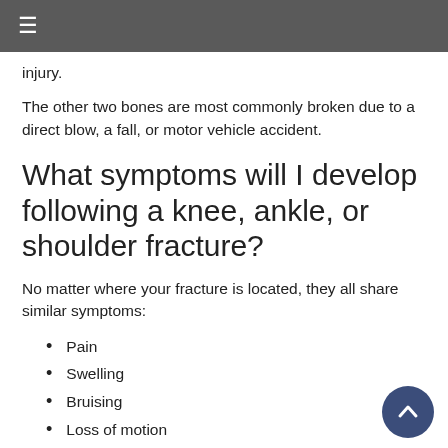≡
injury.
The other two bones are most commonly broken due to a direct blow, a fall, or motor vehicle accident.
What symptoms will I develop following a knee, ankle, or shoulder fracture?
No matter where your fracture is located, they all share similar symptoms:
Pain
Swelling
Bruising
Loss of motion
Inability to put weight on the bone
Deformity when the bone is displaced
Even if your pain and swelling seem mild, a potential